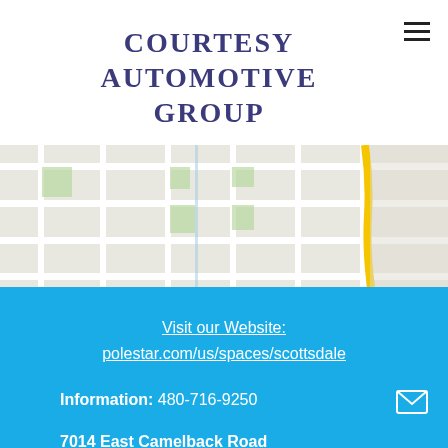Courtesy Automotive Group
[Figure (map): Street map showing grid of roads near Scottsdale Fashion Square area with a yellow road visible on the right side]
Visit our Website:
polestar.com/us/spaces/scottsdale
Information: 480-716-9250
7014 East Camelback Road
Scottsdale Fashion Square, Suite 1268
Scottsdale, AZ 85251